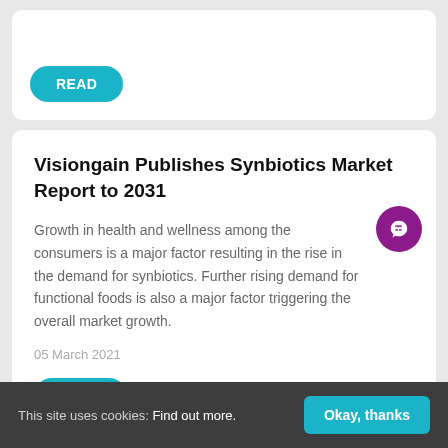[Figure (other): READ button (teal rounded pill button)]
Visiongain Publishes Synbiotics Market Report to 2031
Growth in health and wellness among the consumers is a major factor resulting in the rise in the demand for synbiotics. Further rising demand for functional foods is also a major factor triggering the overall market growth.
05 March 2021
This site uses cookies: Find out more. Okay, thanks